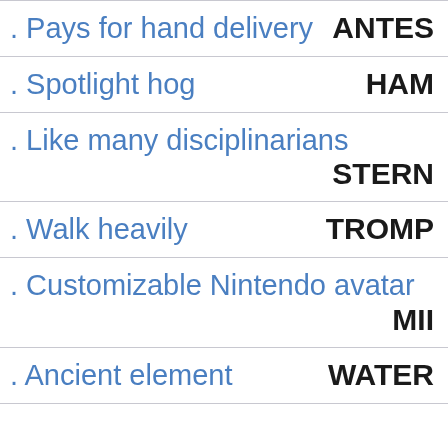. Pays for hand delivery   ANTES
. Spotlight hog   HAM
. Like many disciplinarians   STERN
. Walk heavily   TROMP
. Customizable Nintendo avatar   MII
. Ancient element   WATER